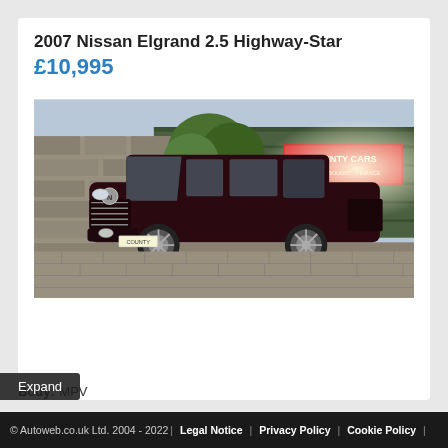2007 Nissan Elgrand 2.5 Highway-Star
£10,995
[Figure (photo): Dark maroon/burgundy Nissan Elgrand MPV van parked on a brick driveway in front of a green corrugated metal building with a 'County Cars' sign.]
Body:  MPV
Expand
© Autoweb.co.uk Ltd. 2004 - 2022 | Legal Notice | Privacy Policy | Cookie Policy |